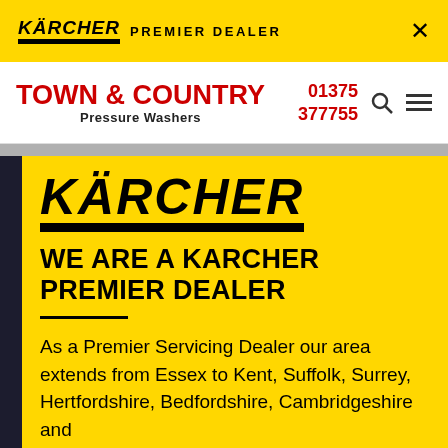KÄRCHER PREMIER DEALER
TOWN & COUNTRY Pressure Washers
01375 377755
[Figure (logo): Large Kärcher logo in black italic bold text with thick black underbar, on yellow background]
WE ARE A KARCHER PREMIER DEALER
As a Premier Servicing Dealer our area extends from Essex to Kent, Suffolk, Surrey, Hertfordshire, Bedfordshire, Cambridgeshire and